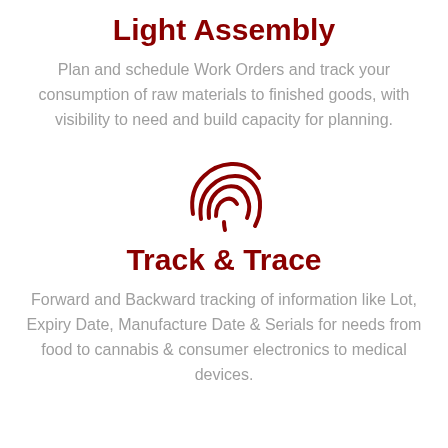Light Assembly
Plan and schedule Work Orders and track your consumption of raw materials to finished goods, with visibility to need and build capacity for planning.
[Figure (illustration): Fingerprint icon in dark red/maroon color]
Track & Trace
Forward and Backward tracking of information like Lot, Expiry Date, Manufacture Date & Serials for needs from food to cannabis & consumer electronics to medical devices.